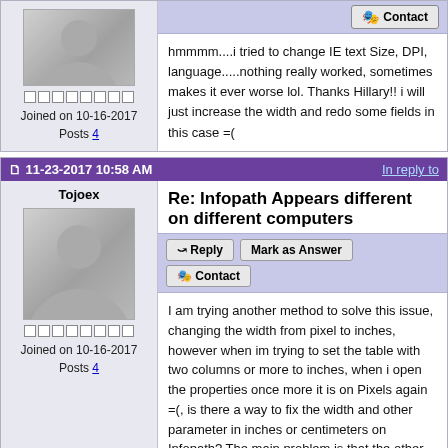[Figure (screenshot): Forum post top section with user avatar, rank boxes, joined date, posts count, and reply text about IE text size and DPI]
hmmmm....i tried to change IE text Size, DPI, language.....nothing really worked, sometimes makes it ever worse lol. Thanks Hillary!! i will just increase the width and redo some fields in this case =(
11-23-2017 10:58 AM  In reply to
Tojoex
Re: Infopath Appears different on different computers
I am trying another method to solve this issue, changing the width from pixel to inches, however when im trying to set the table with two columns or more to inches, when i open the properties once more it is on Pixels again =(, is there a way to fix the width and other parameter in inches or centimeters on Infopath? The main problem is that the other computers are